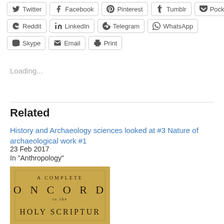Twitter
Facebook
Pinterest
Tumblr
Pocket
Reddit
LinkedIn
Telegram
WhatsApp
Skype
Email
Print
Loading...
Related
History and Archaeology sciences looked at #3 Nature of archaeological work #1
23 Feb 2017
In "Anthropology"
[Figure (photo): Book cover showing 'A Complete Concordance to the Holy Scripture' with aged tan/yellow background]